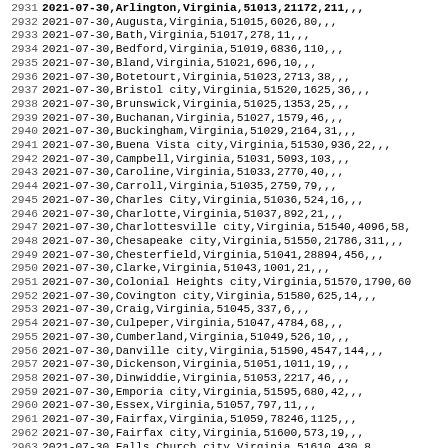| line | data |
| --- | --- |
| 2931 | 2021-07-30,Arlington,Virginia,51013,21172,211,,, |
| 2932 | 2021-07-30,Augusta,Virginia,51015,6026,80,,, |
| 2933 | 2021-07-30,Bath,Virginia,51017,278,11,,, |
| 2934 | 2021-07-30,Bedford,Virginia,51019,6836,110,,, |
| 2935 | 2021-07-30,Bland,Virginia,51021,696,10,,, |
| 2936 | 2021-07-30,Botetourt,Virginia,51023,2713,38,,, |
| 2937 | 2021-07-30,Bristol city,Virginia,51520,1625,36,,, |
| 2938 | 2021-07-30,Brunswick,Virginia,51025,1353,25,,, |
| 2939 | 2021-07-30,Buchanan,Virginia,51027,1579,46,,, |
| 2940 | 2021-07-30,Buckingham,Virginia,51029,2164,31,,, |
| 2941 | 2021-07-30,Buena Vista city,Virginia,51530,936,22,,, |
| 2942 | 2021-07-30,Campbell,Virginia,51031,5093,103,,, |
| 2943 | 2021-07-30,Caroline,Virginia,51033,2770,40,,, |
| 2944 | 2021-07-30,Carroll,Virginia,51035,2759,79,,, |
| 2945 | 2021-07-30,Charles City,Virginia,51036,524,16,,, |
| 2946 | 2021-07-30,Charlotte,Virginia,51037,892,21,,, |
| 2947 | 2021-07-30,Charlottesville city,Virginia,51540,4096,58, |
| 2948 | 2021-07-30,Chesapeake city,Virginia,51550,21786,311,,, |
| 2949 | 2021-07-30,Chesterfield,Virginia,51041,28894,456,,, |
| 2950 | 2021-07-30,Clarke,Virginia,51043,1001,21,,, |
| 2951 | 2021-07-30,Colonial Heights city,Virginia,51570,1790,60 |
| 2952 | 2021-07-30,Covington city,Virginia,51580,625,14,,, |
| 2953 | 2021-07-30,Craig,Virginia,51045,337,6,,, |
| 2954 | 2021-07-30,Culpeper,Virginia,51047,4784,68,,, |
| 2955 | 2021-07-30,Cumberland,Virginia,51049,526,10,,, |
| 2956 | 2021-07-30,Danville city,Virginia,51590,4547,144,,, |
| 2957 | 2021-07-30,Dickenson,Virginia,51051,1011,19,,, |
| 2958 | 2021-07-30,Dinwiddie,Virginia,51053,2217,46,,, |
| 2959 | 2021-07-30,Emporia city,Virginia,51595,680,42,,, |
| 2960 | 2021-07-30,Essex,Virginia,51057,797,11,,, |
| 2961 | 2021-07-30,Fairfax,Virginia,51059,78246,1125,,, |
| 2962 | 2021-07-30,Fairfax city,Virginia,51600,573,19,,, |
| 2963 | 2021-07-30,Falls Church city,Virginia,51610,430,8,,, |